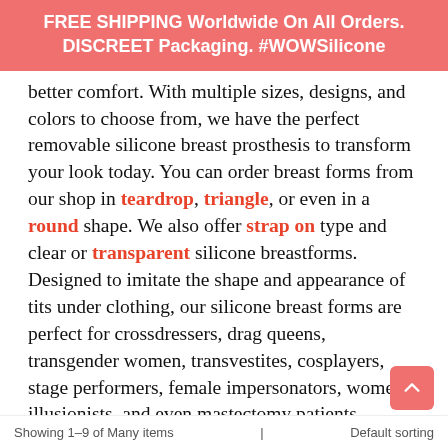FREE SHIPPING Worldwide On All Orders. DISCREET Packaging. #WOWSilicone
better comfort. With multiple sizes, designs, and colors to choose from, we have the perfect removable silicone breast prosthesis to transform your look today. You can order breast forms from our shop in teardrop, triangle, or even in a round shape. We also offer strap on type and clear or transparent silicone breastforms. Designed to imitate the shape and appearance of tits under clothing, our silicone breast forms are perfect for crossdressers, drag queens, transgender women, transvestites, cosplayers, stage performers, female impersonators, women illusionists, and even mastectomy patients.
For any inquiries regarding our silicone breastforms, feel free to contact us. We will help you in choosing the right breast form for you and give you a boost of confidence. We look forward to hearing from you!